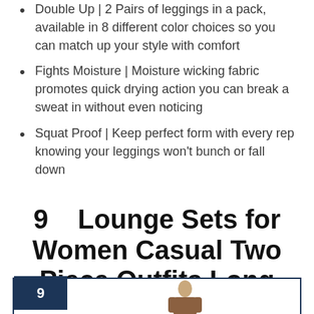Double Up | 2 Pairs of leggings in a pack, available in 8 different color choices so you can match up your style with comfort
Fights Moisture | Moisture wicking fabric promotes quick drying action you can break a sweat in without even noticing
Squat Proof | Keep perfect form with every rep knowing your leggings won't bunch or fall down
9    Lounge Sets for Women Casual Two Piece Outfits Long Sleeve Fall Clothes Brown M
[Figure (photo): Product listing card with number 9 badge and partial photo of a woman wearing a lounge set]